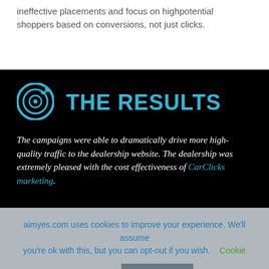ineffective placements and focus on highpotential shoppers based on conversions, not just clicks.
THE RESULTS
The campaigns were able to dramatically drive more high-quality traffic to the dealership website. The dealership was extremely pleased with the cost effectiveness of CarClicks marketing.
aimyes.com uses cookies to improve your experience. We'll assume you're ok with this, but you can opt-out if you wish. Cookie settings ACCEPT